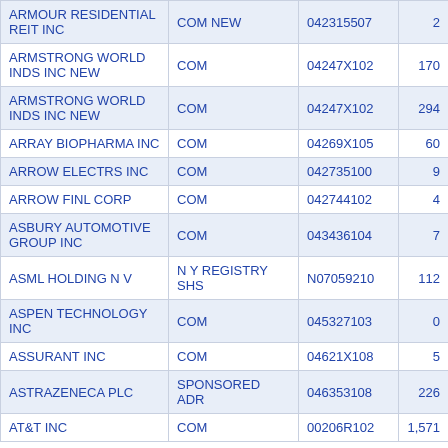| ARMOUR RESIDENTIAL REIT INC | COM NEW | 042315507 | 2 |
| ARMSTRONG WORLD INDS INC NEW | COM | 04247X102 | 170 |
| ARMSTRONG WORLD INDS INC NEW | COM | 04247X102 | 294 |
| ARRAY BIOPHARMA INC | COM | 04269X105 | 60 |
| ARROW ELECTRS INC | COM | 042735100 | 9 |
| ARROW FINL CORP | COM | 042744102 | 4 |
| ASBURY AUTOMOTIVE GROUP INC | COM | 043436104 | 7 |
| ASML HOLDING N V | N Y REGISTRY SHS | N07059210 | 112 |
| ASPEN TECHNOLOGY INC | COM | 045327103 | 0 |
| ASSURANT INC | COM | 04621X108 | 5 |
| ASTRAZENECA PLC | SPONSORED ADR | 046353108 | 226 |
| AT&T INC | COM | 00206R102 | 1,571 |